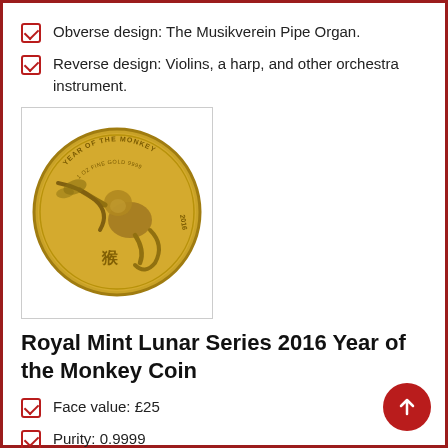Obverse design: The Musikverein Pipe Organ.
Reverse design: Violins, a harp, and other orchestra instrument.
[Figure (photo): Gold coin - Royal Mint Lunar Series 2016 Year of the Monkey, showing a monkey on a branch with Chinese characters]
Royal Mint Lunar Series 2016 Year of the Monkey Coin
Face value: £25
Purity: 0.9999